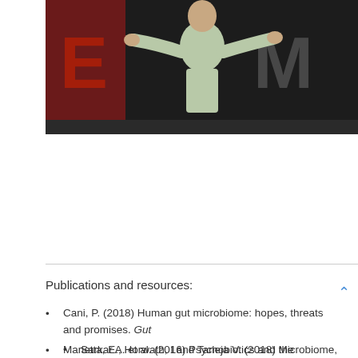[Figure (photo): A person in a light green/sage button-up shirt standing with arms outstretched on what appears to be a stage with a dark red/black background with large letters visible behind them (TED talk or similar presentation).]
Publications and resources:
Cani, P. (2018) Human gut microbiome: hopes, threats and promises. Gut
Marietta, E., Horwath, I and Taneja V. (2018) Microbiome, immunomodulation and the neuronal system. Neurotherapeutics
Sarkar A. et al. (2016) Psychobiotics and the